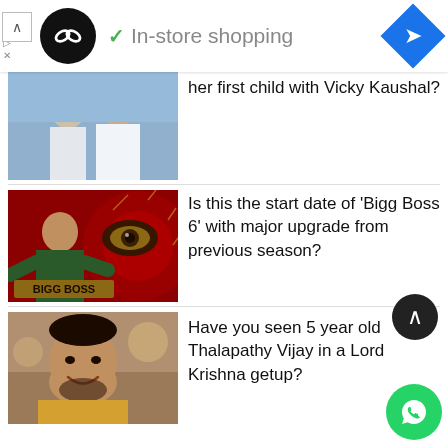[Figure (screenshot): Ad banner with circular black logo with infinity-like symbol, checkmark, 'In-store shopping' text in gray, blue diamond arrow icon on right]
[Figure (photo): Couple photo - woman and man smiling outdoors, partially cropped at top]
her first child with Vicky Kaushal?
[Figure (photo): Bigg Boss show promotional image - host with arms spread, red background with ornate eye logo and 'BIGG BOSS' text]
Is this the start date of 'Bigg Boss 6' with major upgrade from previous season?
[Figure (photo): Thalapathy Vijay photo - man in orange/yellow outfit smiling]
Have you seen 5 year old Thalapathy Vijay in a Lord Krishna getup?